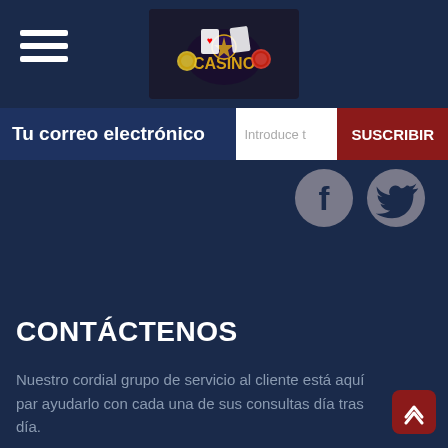[Figure (logo): Casino website logo with colorful casino chips and cards on dark background]
Tu correo electrónico
Introduce t
SUSCRIBIR
[Figure (illustration): Facebook and Twitter social media icons (grey circles with white logos)]
CONTÁCTENOS
Nuestro cordial grupo de servicio al cliente está aquí par ayudarlo con cada una de sus consultas día tras día.